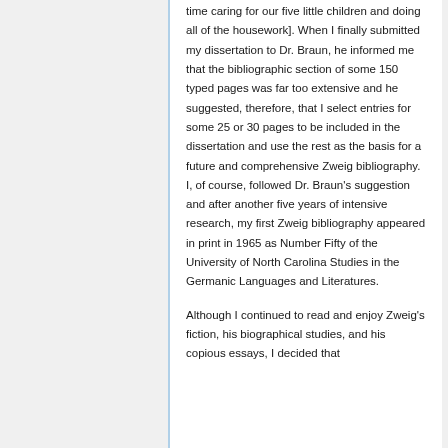time caring for our five little children and doing all of the housework]. When I finally submitted my dissertation to Dr. Braun, he informed me that the bibliographic section of some 150 typed pages was far too extensive and he suggested, therefore, that I select entries for some 25 or 30 pages to be included in the dissertation and use the rest as the basis for a future and comprehensive Zweig bibliography. I, of course, followed Dr. Braun's suggestion and after another five years of intensive research, my first Zweig bibliography appeared in print in 1965 as Number Fifty of the University of North Carolina Studies in the Germanic Languages and Literatures.
Although I continued to read and enjoy Zweig's fiction, his biographical studies, and his copious essays, I decided that